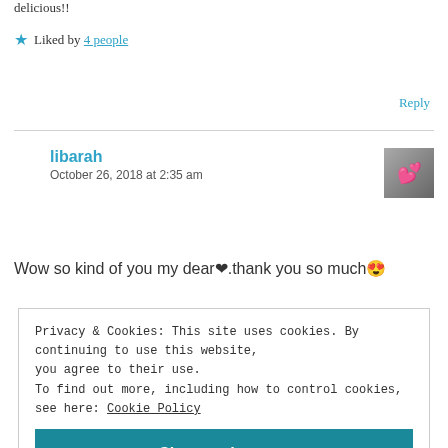delicious!!
★ Liked by 4 people
Reply
libarah
October 26, 2018 at 2:35 am
Wow so kind of you my dear❤.thank you so much😍
Privacy & Cookies: This site uses cookies. By continuing to use this website, you agree to their use.
To find out more, including how to control cookies, see here: Cookie Policy
Close and accept